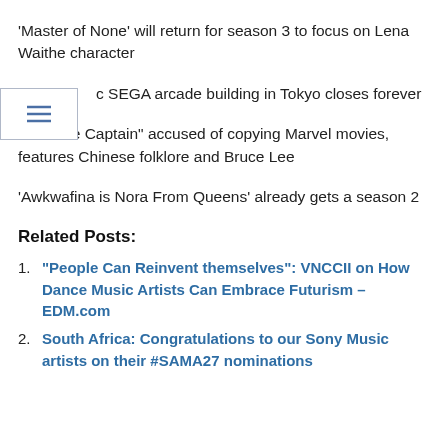'Master of None' will return for season 3 to focus on Lena Waithe character
c SEGA arcade building in Tokyo closes forever
“Chinese Captain” accused of copying Marvel movies, features Chinese folklore and Bruce Lee
‘Awkwafina is Nora From Queens’ already gets a season 2
Related Posts:
“People Can Reinvent themselves”: VNCCII on How Dance Music Artists Can Embrace Futurism – EDM.com
South Africa: Congratulations to our Sony Music artists on their #SAMA27 nominations